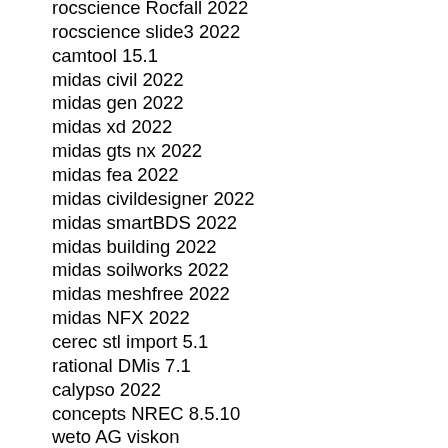rocscience Rocfall 2022
rocscience slide3 2022
camtool 15.1
midas civil 2022
midas gen 2022
midas xd 2022
midas gts nx 2022
midas fea 2022
midas civildesigner 2022
midas smartBDS 2022
midas building 2022
midas soilworks 2022
midas meshfree 2022
midas NFX 2022
cerec stl import 5.1
rational DMis 7.1
calypso 2022
concepts NREC 8.5.10
weto AG viskon
ADT turbodesign suite 5.0
RISA-3D 2022
CARIS HIPS V10.0.2
neostampa 8.6.3
CMC colorproof flexproof 5.4.2